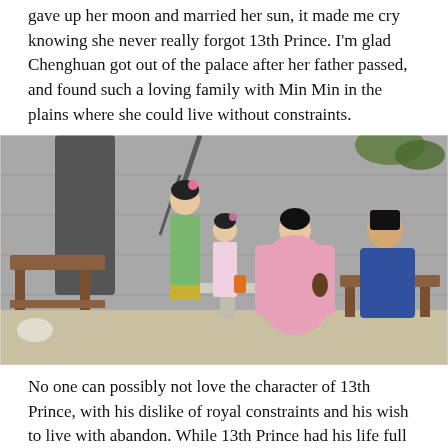gave up her moon and married her sun, it made me cry knowing she never really forgot 13th Prince. I'm glad Chenghuan got out of the palace after her father passed, and found such a loving family with Min Min in the plains where she could live without constraints.
[Figure (photo): A scene from a Chinese historical drama showing four people in traditional Qing-dynasty costumes in an outdoor pavilion setting with stone benches and a grey stone wall. Two women in green and pink robes stand together, a woman in a pink robe kneels, and a man in a blue robe sits at a stone table on the right.]
No one can possibly not love the character of 13th Prince, with his dislike of royal constraints and his wish to live with abandon. While 13th Prince had his life full of youthful...